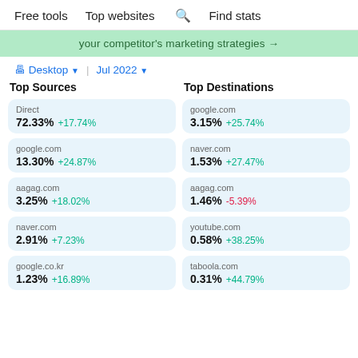Free tools   Top websites   Find stats
your competitor's marketing strategies →
Desktop ▾  |  Jul 2022 ▾
Top Sources
Top Destinations
Direct
72.33% +17.74%
google.com
3.15% +25.74%
google.com
13.30% +24.87%
naver.com
1.53% +27.47%
aagag.com
3.25% +18.02%
aagag.com
1.46% -5.39%
naver.com
2.91% +7.23%
youtube.com
0.58% +38.25%
google.co.kr
1.23% +16.89%
taboola.com
0.31% +44.79%